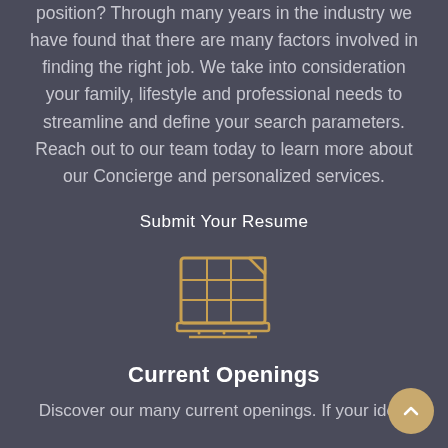position? Through many years in the industry we have found that there are many factors involved in finding the right job. We take into consideration your family, lifestyle and professional needs to streamline and define your search parameters. Reach out to our team today to learn more about our Concierge and personalized services.
Submit Your Resume
[Figure (illustration): Golden/yellow outline icon of a laptop/computer monitor displaying a table or spreadsheet grid with a folded corner, on a dark background.]
Current Openings
Discover our many current openings. If your ideal